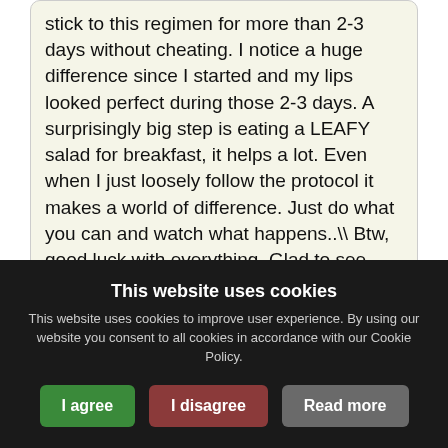stick to this regimen for more than 2-3 days without cheating. I notice a huge difference since I started and my lips looked perfect during those 2-3 days. A surprisingly big step is eating a LEAFY salad for breakfast, it helps a lot. Even when I just loosely follow the protocol it makes a world of difference. Just do what you can and watch what happens..\\ Btw, good luck with everything. Glad to see your working on m ... [retrieve this message]
Re: B4 trying iodine, research it at Ask
This website uses cookies
This website uses cookies to improve user experience. By using our website you consent to all cookies in accordance with our Cookie Policy.